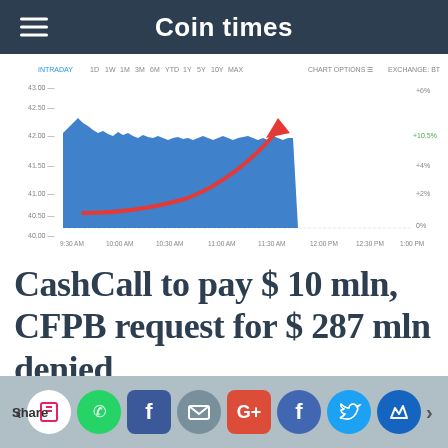Coin times
[Figure (continuous-plot): Intraday stock/crypto price chart showing a price area chart in blue with a red curved arrow overlaid pointing upward, indicating price rise. X-axis shows times from 9:30 AM to 1:00 PM, Y-axis shows prices from 40.00 to 43.00. Chart options and exchange controls visible at top. A green percentage label is visible on the right side.]
CashCall to pay $ 10 mln, CFPB request for $ 287 mln denied
Share